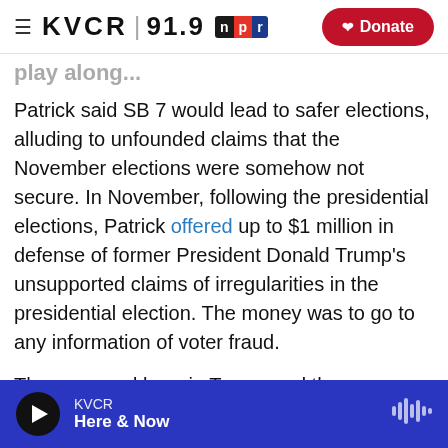KVCR 91.9 NPR | Donate
Patrick said SB 7 would lead to safer elections, alluding to unfounded claims that the November elections were somehow not secure. In November, following the presidential elections, Patrick offered up to $1 million in defense of former President Donald Trump's unsupported claims of irregularities in the presidential election. The money was to go to any information of voter fraud.
The proposed laws in Texas, and the subsequent corporate backlash, mirror a similar fight over voter access in Georgia. Late last month, that state
KVCR | Here & Now